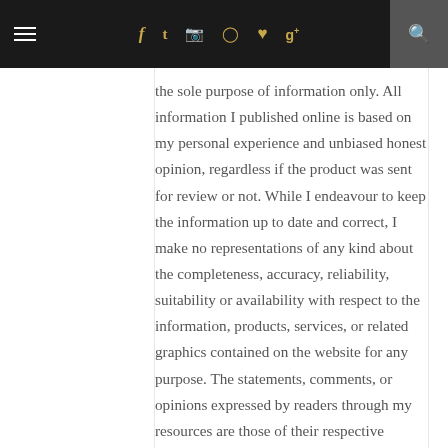≡  f  t  ☷  ⊕  ♥  g+  🔍
the sole purpose of information only. All information I published online is based on my personal experience and unbiased honest opinion, regardless if the product was sent for review or not. While I endeavour to keep the information up to date and correct, I make no representations of any kind about the completeness, accuracy, reliability, suitability or availability with respect to the information, products, services, or related graphics contained on the website for any purpose. The statements, comments, or opinions expressed by readers through my resources are those of their respective